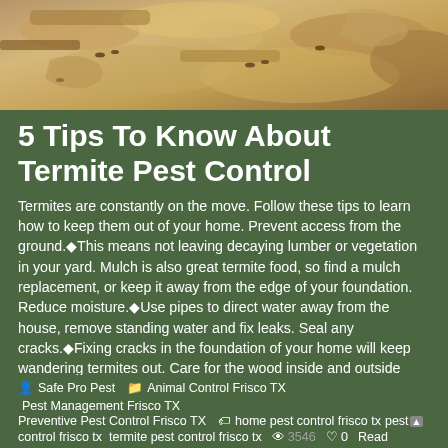[Figure (photo): Close-up photograph of termites on decaying wood/soil material, showing sandy/earthy tones with insects visible]
5 Tips To Know About Termite Pest Control
Termites are constantly on the move. Follow these tips to learn how to keep them out of your home. Prevent access from the ground.◆This means not leaving decaying lumber or vegetation in your yard. Mulch is also great termite food, so find a mulch replacement, or keep it away from the edge of your foundation. Reduce moisture.◆Use pipes to direct water away from the house, remove standing water and fix leaks. Seal any cracks.◆Fixing cracks in the foundation of your home will keep wandering termites out. Care for the wood inside and outside your house,◆Take good care of wood floors
Safe Pro Pest   Animal Control Frisco TX  Pest Management Frisco TX  Preventive Pest Control Frisco TX   home pest control frisco tx  pest control frisco tx  termite pest control frisco tx   3546  0  Read